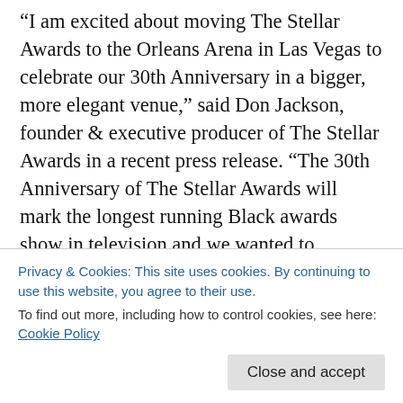“I am excited about moving The Stellar Awards to the Orleans Arena in Las Vegas to celebrate our 30th Anniversary in a bigger, more elegant venue,” said Don Jackson, founder & executive producer of The Stellar Awards in a recent press release. “The 30th Anniversary of The Stellar Awards will mark the longest running Black awards show in television and we wanted to commemorate this historic occasion in a first class venue that we know our Gospel music stars and guests will enjoy.”
“Las Vegas is the entertainment capital of the world, and we are excited to welcome The Stellar Awards to
Privacy & Cookies: This site uses cookies. By continuing to use this website, you agree to their use.
To find out more, including how to control cookies, see here: Cookie Policy
Close and accept
choosing our destination.